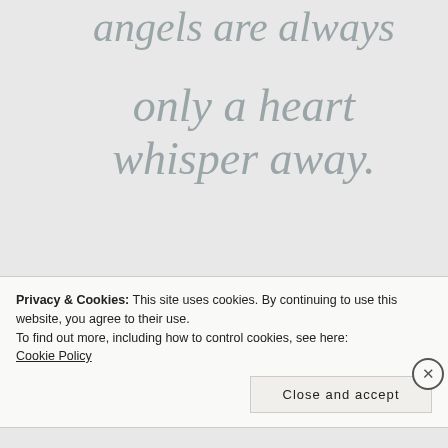angels are always
only a heart whisper away.
Melissa neeb
Privacy & Cookies: This site uses cookies. By continuing to use this website, you agree to their use.
To find out more, including how to control cookies, see here:
Cookie Policy
Close and accept